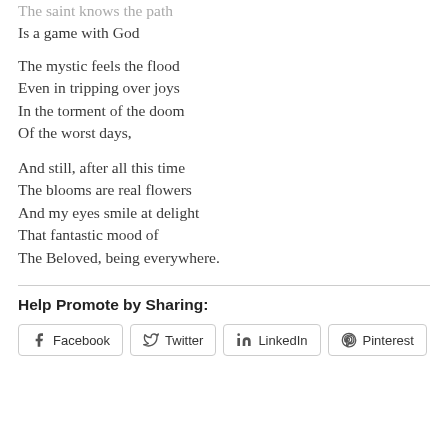The saint knows the path
Is a game with God
The mystic feels the flood
Even in tripping over joys
In the torment of the doom
Of the worst days,
And still, after all this time
The blooms are real flowers
And my eyes smile at delight
That fantastic mood of
The Beloved, being everywhere.
Help Promote by Sharing:
[Figure (other): Social sharing buttons: Facebook, Twitter, LinkedIn, Pinterest]